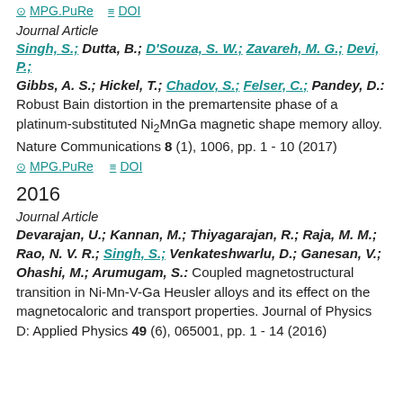MPG.PuRe   DOI
Journal Article
Singh, S.; Dutta, B.; D'Souza, S. W.; Zavareh, M. G.; Devi, P.; Gibbs, A. S.; Hickel, T.; Chadov, S.; Felser, C.; Pandey, D.: Robust Bain distortion in the premartensite phase of a platinum-substituted Ni2MnGa magnetic shape memory alloy. Nature Communications 8 (1), 1006, pp. 1 - 10 (2017)
MPG.PuRe   DOI
2016
Journal Article
Devarajan, U.; Kannan, M.; Thiyagarajan, R.; Raja, M. M.; Rao, N. V. R.; Singh, S.; Venkateshwarlu, D.; Ganesan, V.; Ohashi, M.; Arumugam, S.: Coupled magnetostructural transition in Ni-Mn-V-Ga Heusler alloys and its effect on the magnetocaloric and transport properties. Journal of Physics D: Applied Physics 49 (6), 065001, pp. 1 - 14 (2016)